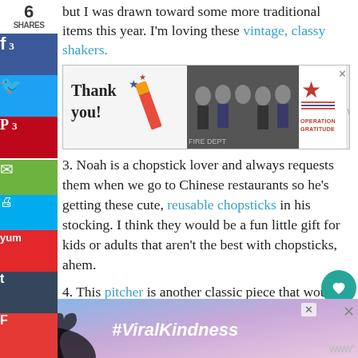but I was drawn toward some more traditional items this year. I'm loving these vintage, classy shakers.
[Figure (infographic): Advertisement banner: Operation Gratitude 'Thank You' ad with firefighters group photo and patriotic graphic]
3. Noah is a chopstick lover and always requests them when we go to Chinese restaurants so he's getting these cute, reusable chopsticks in his stocking. I think they would be a fun little gift for kids or adults that aren't the best with chopsticks, ahem.
4. This pitcher is another classic piece that would be a fun gift that I think anyone would love. It's
[Figure (infographic): Bottom advertisement banner: #ViralKindness with hand heart silhouette on sky background]